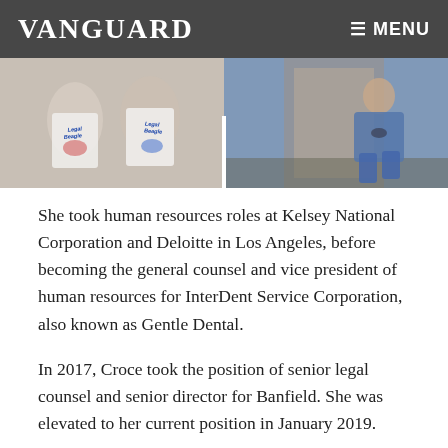VANGUARD  ≡ MENU
[Figure (photo): Two-panel photo strip: left panel shows two people wearing white 'Legal Beagle' t-shirts with colorful graphic; right panel shows a medical professional in blue scrubs kneeling.]
She took human resources roles at Kelsey National Corporation and Deloitte in Los Angeles, before becoming the general counsel and vice president of human resources for InterDent Service Corporation, also known as Gentle Dental.
In 2017, Croce took the position of senior legal counsel and senior director for Banfield. She was elevated to her current position in January 2019.